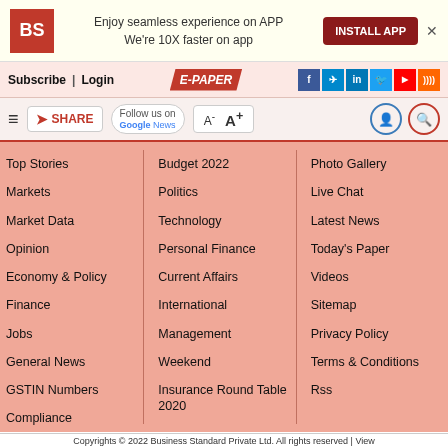[Figure (screenshot): Business Standard website navigation page showing app install banner, navigation bar with Subscribe/Login, E-Paper button, social icons, toolbar with share/font controls, and a site map menu with three columns of links on a salmon/pink background.]
Enjoy seamless experience on APP We're 10X faster on app
INSTALL APP
Subscribe| Login
E-PAPER
Follow us on Google News
A- A+
Top Stories
Markets
Market Data
Opinion
Economy & Policy
Finance
Jobs
General News
GSTIN Numbers
Compliance
Budget 2022
Politics
Technology
Personal Finance
Current Affairs
International
Management
Weekend
Insurance Round Table 2020
Photo Gallery
Live Chat
Latest News
Today's Paper
Videos
Sitemap
Privacy Policy
Terms & Conditions
Rss
Copyrights © 2022 Business Standard Private Ltd. All rights reserved | View